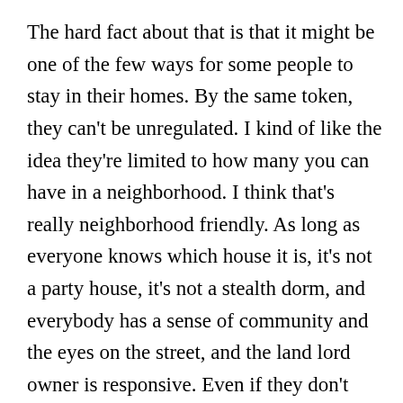The hard fact about that is that it might be one of the few ways for some people to stay in their homes. By the same token, they can’t be unregulated. I kind of like the idea they’re limited to how many you can have in a neighborhood. I think that’s really neighborhood friendly. As long as everyone knows which house it is, it’s not a party house, it’s not a stealth dorm, and everybody has a sense of community and the eyes on the street, and the land lord owner is responsive. Even if they don’t live in town, if they have a management company that gets on it immediately, so that there isn’t a noise distraction or there’s noise on the street or there’s too many cars, or just anything that would be a problem long-term for neighbors. Everybody’s going to have a bunch of cars in front of their house at one point or